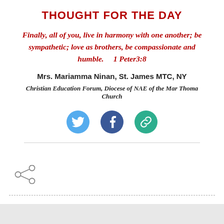THOUGHT FOR THE DAY
Finally, all of you, live in harmony with one another; be sympathetic; love as brothers, be compassionate and humble.    1 Peter3:8
Mrs. Mariamma Ninan, St. James MTC, NY
Christian Education Forum, Diocese of NAE of the Mar Thoma Church
[Figure (infographic): Three social media sharing icons in circles: Twitter (blue bird), Facebook (blue f), and a link/chain icon (green)]
[Figure (other): Share icon (less-than symbol style share icon) on the left side]